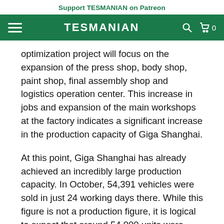Support TESMANIAN on Patreon
[Figure (screenshot): TESMANIAN website navigation bar with hamburger menu, TESMANIAN logo in white on green background, search icon, and cart icon with 0]
optimization project will focus on the expansion of the press shop, body shop, paint shop, final assembly shop and logistics operation center. This increase in jobs and expansion of the main workshops at the factory indicates a significant increase in the production capacity of Giga Shanghai.
At this point, Giga Shanghai has already achieved an incredibly large production capacity. In October, 54,391 vehicles were sold in just 24 working days there. While this figure is not a production figure, it is logical to expect that around 54,000 units were produced. This also means that production at the Chinese factory could already reach a whopping 806,000 units. With the new expansion, this figure will easily surpass 1 million units